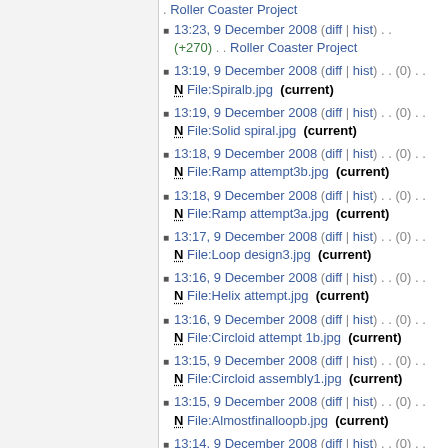. Roller Coaster Project
13:23, 9 December 2008 (diff | hist) . . (+270) . . Roller Coaster Project
13:19, 9 December 2008 (diff | hist) . . (0) . . N File:Spiralb.jpg (current)
13:19, 9 December 2008 (diff | hist) . . (0) . . N File:Solid spiral.jpg (current)
13:18, 9 December 2008 (diff | hist) . . (0) . . N File:Ramp attempt3b.jpg (current)
13:18, 9 December 2008 (diff | hist) . . (0) . . N File:Ramp attempt3a.jpg (current)
13:17, 9 December 2008 (diff | hist) . . (0) . . N File:Loop design3.jpg (current)
13:16, 9 December 2008 (diff | hist) . . (0) . . N File:Helix attempt.jpg (current)
13:16, 9 December 2008 (diff | hist) . . (0) . . N File:Circloid attempt 1b.jpg (current)
13:15, 9 December 2008 (diff | hist) . . (0) . . N File:Circloid assembly1.jpg (current)
13:15, 9 December 2008 (diff | hist) . . (0) . . N File:Almostfinalloopb.jpg (current)
13:14, 9 December 2008 (diff | hist) . . (0) . . N File:Almostfinalloopa.jpg (current)